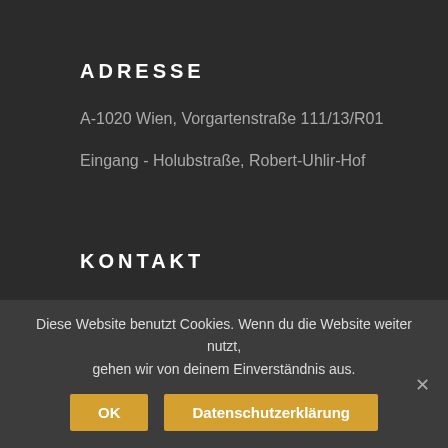ADRESSE
A-1020 Wien, Vorgartenstraße 111/13/R01
Eingang - Holubstraße, Robert-Uhlir-Hof
KONTAKT
T : + 43 1 890 33 97
Diese Website benutzt Cookies. Wenn du die Website weiter nutzt, gehen wir von deinem Einverständnis aus.
OK
Datenschutzerklärung